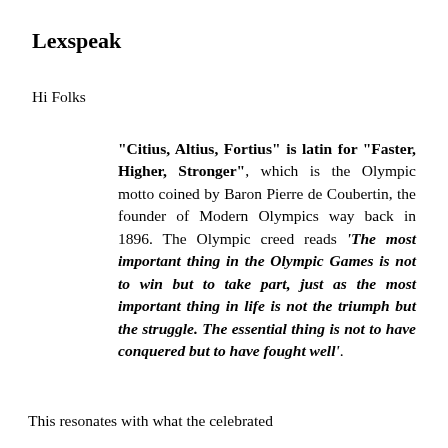Lexspeak
Hi Folks
“Citius, Altius, Fortius” is latin for “Faster, Higher, Stronger”, which is the Olympic motto coined by Baron Pierre de Coubertin, the founder of Modern Olympics way back in 1896. The Olympic creed reads ‘The most important thing in the Olympic Games is not to win but to take part, just as the most important thing in life is not the triumph but the struggle. The essential thing is not to have conquered but to have fought well’.
This resonates with what the celebrated